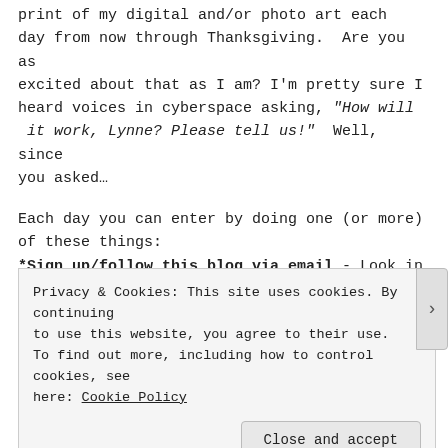print of my digital and/or photo art each day from now through Thanksgiving.  Are you as excited about that as I am? I'm pretty sure I heard voices in cyberspace asking, "How will  it work, Lynne? Please tell us!"  Well, since you asked…
Each day you can enter by doing one (or more) of these things:
*Sign up/follow this blog via email - Look in right column at the top of this page, click on "Sign Me Up" and every time I write a new blog
Privacy & Cookies: This site uses cookies. By continuing to use this website, you agree to their use.
To find out more, including how to control cookies, see here: Cookie Policy
Close and accept